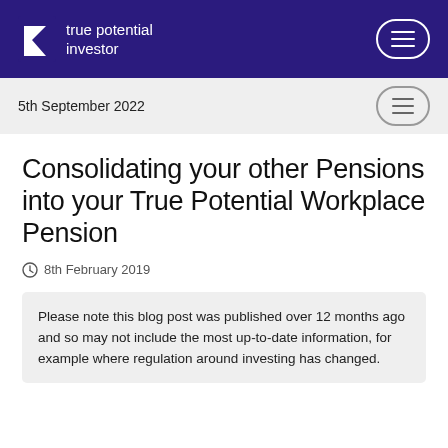true potential investor
5th September 2022
Consolidating your other Pensions into your True Potential Workplace Pension
8th February 2019
Please note this blog post was published over 12 months ago and so may not include the most up-to-date information, for example where regulation around investing has changed.